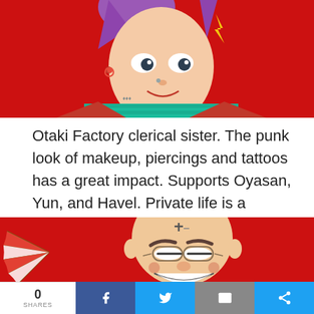[Figure (illustration): Anime-style illustration of a punk girl character against a red background, with purple hair, piercings, choker, and tattoos.]
Otaki Factory clerical sister. The punk look of makeup, piercings and tattoos has a great impact. Supports Oyasan, Yun, and Havel. Private life is a mystery.
[Figure (illustration): Anime-style illustration of a bald, smiling older man with glasses and a cross mark on his forehead holding a fan, against a red background.]
0 SHARES | Facebook | Twitter | Email | More